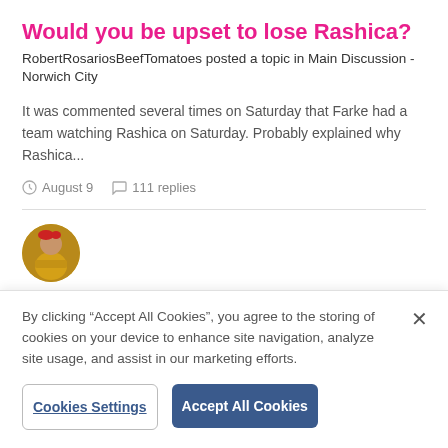Would you be upset to lose Rashica?
RobertRosariosBeefTomatoes posted a topic in Main Discussion - Norwich City
It was commented several times on Saturday that Farke had a team watching Rashica on Saturday. Probably explained why Rashica...
August 9   111 replies
[Figure (photo): Circular avatar photo of a person in a yellow sports jersey]
Good to see Gibson has a sense of humour
RobertRosariosBeefTomatoes replied to cambridgeshire
By clicking “Accept All Cookies”, you agree to the storing of cookies on your device to enhance site navigation, analyze site usage, and assist in our marketing efforts.
Cookies Settings
Accept All Cookies